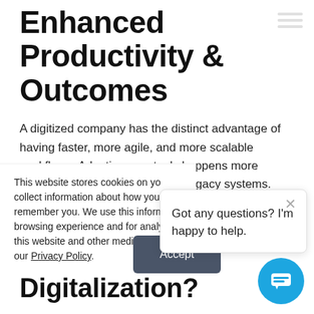Enhanced Productivity & Outcomes
A digitized company has the distinct advantage of having faster, more agile, and more scalable workflows. Adopting new tools happens more quickly and efficiently than with legacy systems. The entire information infrastructure becomes connected to quarterly goals and business
What is Digitalization?
This website stores cookies on yo collect information about how you remember you. We use this inform browsing experience and for analy this website and other media. To f our Privacy Policy.
Got any questions? I'm happy to help.
Accept